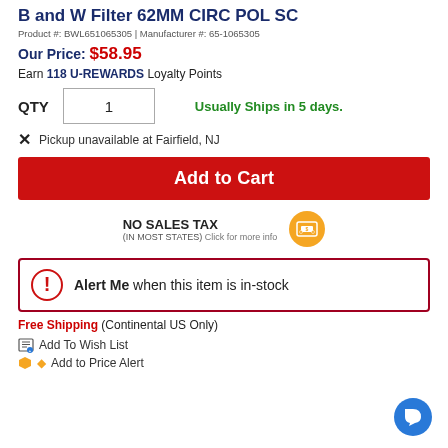B and W Filter 62MM CIRC POL SC
Product #: BWL651065305 | Manufacturer #: 65-1065305
Our Price: $58.95
Earn 118 U-REWARDS Loyalty Points
QTY 1  Usually Ships in 5 days.
X  Pickup unavailable at Fairfield, NJ
Add to Cart
NO SALES TAX (IN MOST STATES) Click for more info
Alert Me when this item is in-stock
Free Shipping (Continental US Only)
Add To Wish List
Add to Price Alert